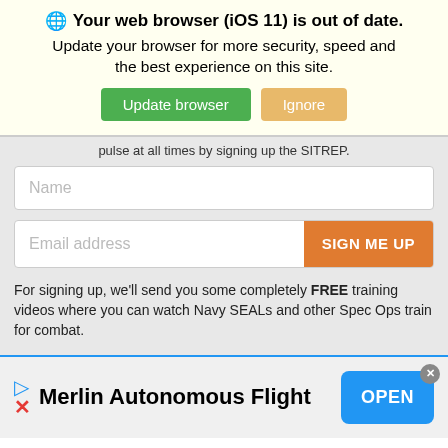Your web browser (iOS 11) is out of date. Update your browser for more security, speed and the best experience on this site.
pulse at all times by signing up the SITREP.
Name
Email address | SIGN ME UP
For signing up, we'll send you some completely FREE training videos where you can watch Navy SEALs and other Spec Ops train for combat.
Merlin Autonomous Flight | OPEN